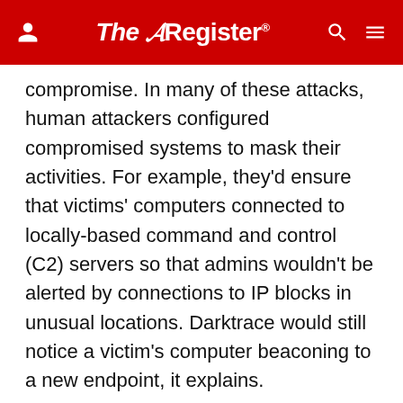The Register
compromise. In many of these attacks, human attackers configured compromised systems to mask their activities. For example, they'd ensure that victims' computers connected to locally-based command and control (C2) servers so that admins wouldn't be alerted by connections to IP blocks in unusual locations. Darktrace would still notice a victim's computer beaconing to a new endpoint, it explains.
With supply chain attackers using multiple routes into victims' systems, Darktrace argues that a multi-faceted approach to monitoring is crucial. Its product adopts a unified picture of both email and network traffic, enabling it to spot deviations in packet flow or email content.